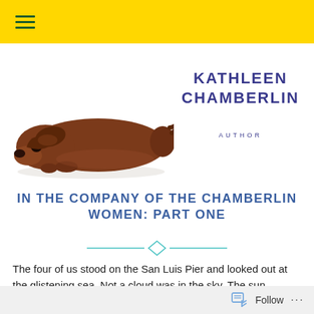≡ (navigation hamburger menu)
[Figure (photo): A brown dachshund dog lying down with its head resting low, photographed on a white background.]
KATHLEEN CHAMBERLIN
AUTHOR
IN THE COMPANY OF THE CHAMBERLIN WOMEN: PART ONE
[Figure (illustration): A decorative horizontal divider consisting of two horizontal teal/cyan lines with a diamond shape in the center.]
The four of us stood on the San Luis Pier and looked out at the glistening sea. Not a cloud was in the sky. The sun warmed our faces, but a brisk wind encouraged us to pull our
Follow ...